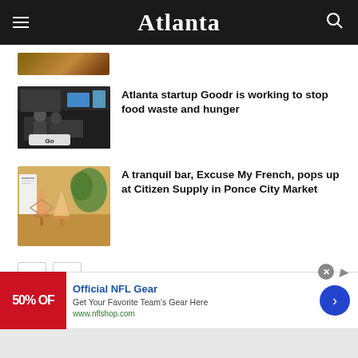Atlanta
[Figure (photo): Partial thumbnail image cropped at top of page]
[Figure (photo): Photo of office/startup space with people at counter and Goodr logo]
Atlanta startup Goodr is working to stop food waste and hunger
[Figure (photo): Photo of cocktail drinks at a bar with greenery in background]
A tranquil bar, Excuse My French, pops up at Citizen Supply in Ponce City Market
[Figure (other): Pagination navigation buttons with left and right arrows]
[Figure (other): Advertisement banner for Official NFL Gear with 50% off offer. Text: Official NFL Gear, Get Your Favorite Team's Gear Here, www.nflshop.com]